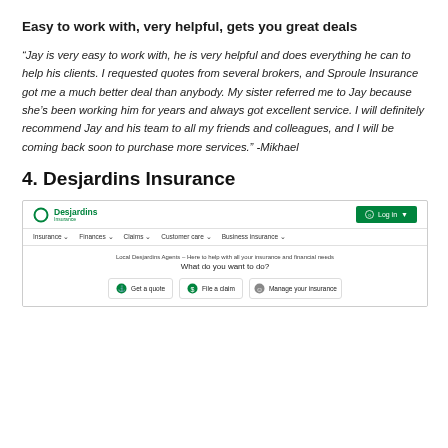Easy to work with, very helpful, gets you great deals
“Jay is very easy to work with, he is very helpful and does everything he can to help his clients. I requested quotes from several brokers, and Sproule Insurance got me a much better deal than anybody. My sister referred me to Jay because she’s been working him for years and always got excellent service. I will definitely recommend Jay and his team to all my friends and colleagues, and I will be coming back soon to purchase more services.” -Mikhael
4. Desjardins Insurance
[Figure (screenshot): Screenshot of the Desjardins Insurance website showing the navigation bar with logo, Login button, nav links (Insurance, Finances, Claims, Customer care, Business insurance), and the homepage body with tagline 'Local Desjardins Agents – Here to help with all your insurance and financial needs', 'What do you want to do?' heading, and three action buttons: Get a quote, File a claim, Manage your insurance.]